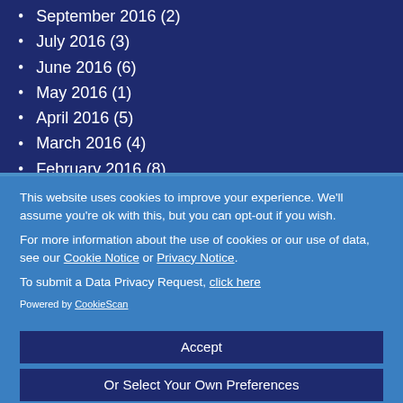September 2016 (2)
July 2016 (3)
June 2016 (6)
May 2016 (1)
April 2016 (5)
March 2016 (4)
February 2016 (8)
January 2016 (5)
This website uses cookies to improve your experience. We'll assume you're ok with this, but you can opt-out if you wish.
For more information about the use of cookies or our use of data, see our Cookie Notice or Privacy Notice.
To submit a Data Privacy Request, click here
Powered by CookieScan
Accept
Or Select Your Own Preferences